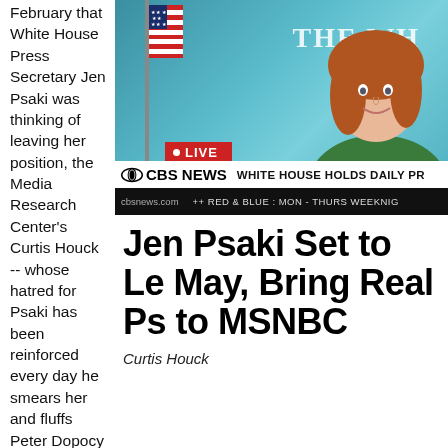February that White House Press Secretary Jen Psaki was thinking of leaving her position, the Media Research Center's Curtis Houck -- whose hatred for Psaki has been reinforced every day he smears her and fluffs Peter Dopocy -- was eager to
[Figure (screenshot): CBS News live broadcast screenshot showing White House Press Secretary Jen Psaki at the White House podium, with 'LIVE' red bar, CBS NEWS logo, and chyron reading 'WHITE HOUSE HOLDS DAILY PR' and ticker '++ RED & BLUE : MON - THURS WEEKNIG']
Jen Psaki Set to Le May, Bring Real Ps to MSNBC
Curtis Houck